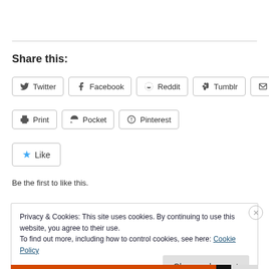Share this:
Twitter
Facebook
Reddit
Tumblr
Email
Print
Pocket
Pinterest
Like
Be the first to like this.
Privacy & Cookies: This site uses cookies. By continuing to use this website, you agree to their use. To find out more, including how to control cookies, see here: Cookie Policy
Close and accept